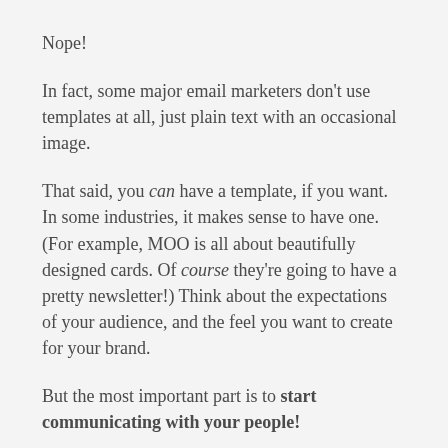Nope!
In fact, some major email marketers don't use templates at all, just plain text with an occasional image.
That said, you can have a template, if you want. In some industries, it makes sense to have one. (For example, MOO is all about beautifully designed cards. Of course they're going to have a pretty newsletter!) Think about the expectations of your audience, and the feel you want to create for your brand.
But the most important part is to start communicating with your people!